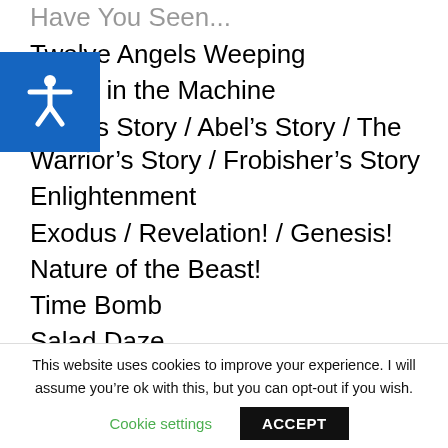Have You Seen...
Twelve Angels Weeping
Ghost in the Machine
Kane’s Story / Abel’s Story / The Warrior’s Story / Frobisher’s Story
Enlightenment
Exodus / Revelation! / Genesis!
Nature of the Beast!
Time Bomb
Salad Daze
This website uses cookies to improve your experience. I will assume you’re ok with this, but you can opt-out if you wish.
Cookie settings    ACCEPT